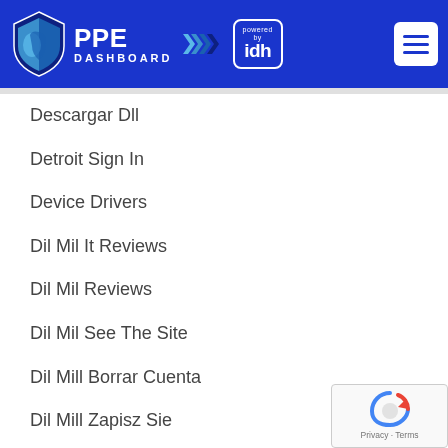PPE DASHBOARD powered by idh
Descargar Dll
Detroit Sign In
Device Drivers
Dil Mil It Reviews
Dil Mil Reviews
Dil Mil See The Site
Dil Mill Borrar Cuenta
Dil Mill Zapisz Sie